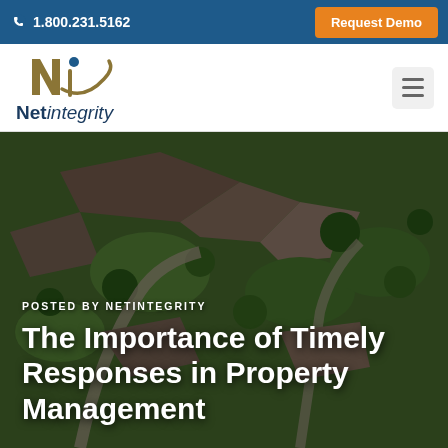1.800.231.5162  Request Demo
[Figure (logo): Net integrity company logo with stylized N and i letters in gold/navy with swoosh and dot]
[Figure (photo): Aerial view of residential properties with green lawns and trees]
POSTED BY NETINTEGRITY
The Importance of Timely Responses in Property Management